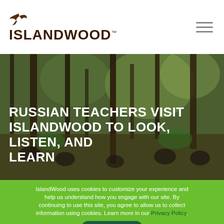[Figure (logo): IslandWood logo with a bird silhouette above the text ISLANDWOOD in dark brown bold letters]
[Figure (photo): Children sitting on a forested hillside with trees, looking at papers/books outdoors. Background shows tall forest trees with green foliage. Overlaid bold white text title on the photo.]
RUSSIAN TEACHERS VISIT ISLANDWOOD TO LOOK, LISTEN, AND LEARN
IslandWood uses cookies to customize your experience and help us understand how you engage with our site. By continuing to use this site, you agree to allow us to collect information using cookies. Learn more in our Privacy Policy.
ACCEPT